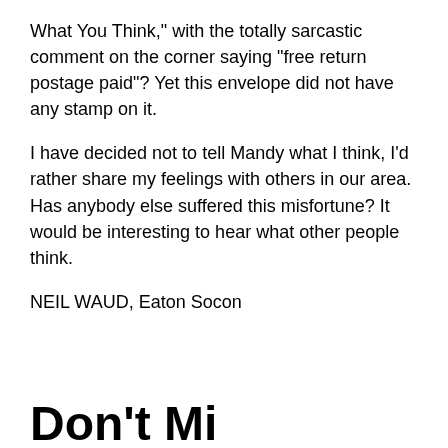What You Think," with the totally sarcastic comment on the corner saying "free return postage paid"? Yet this envelope did not have any stamp on it.
I have decided not to tell Mandy what I think, I'd rather share my feelings with others in our area. Has anybody else suffered this misfortune? It would be interesting to hear what other people think.
NEIL WAUD, Eaton Socon
Don't Mi...